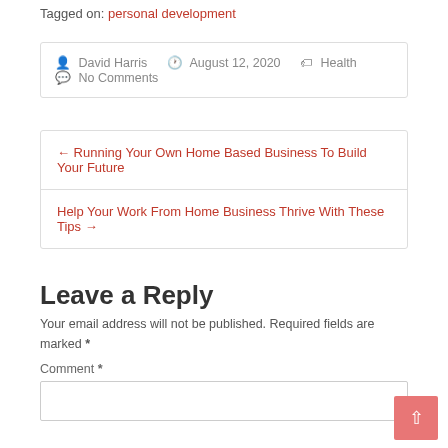Tagged on: personal development
David Harris   August 12, 2020   Health   No Comments
← Running Your Own Home Based Business To Build Your Future
Help Your Work From Home Business Thrive With These Tips →
Leave a Reply
Your email address will not be published. Required fields are marked *
Comment *